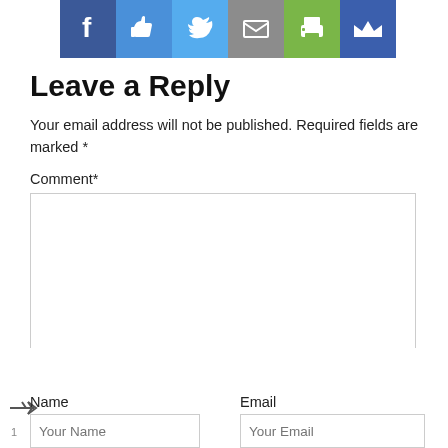[Figure (infographic): Social media sharing bar with icons: Facebook (blue), Like/thumbs-up (light blue), Twitter (sky blue), Email/envelope (gray), Print (green), Crown (dark blue)]
Leave a Reply
Your email address will not be published. Required fields are marked *
Comment*
Name
Email